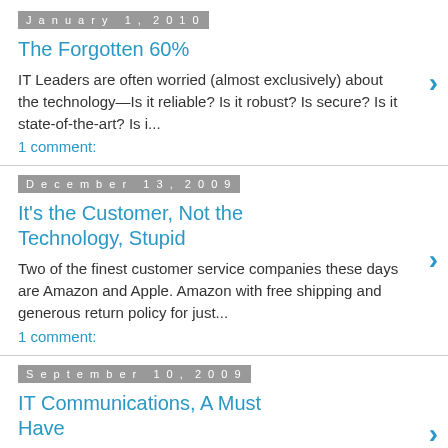January 1, 2010
The Forgotten 60%
IT Leaders are often worried (almost exclusively) about the technology—Is it reliable? Is it robust? Is secure? Is it state-of-the-art? Is i...
1 comment:
December 13, 2009
It's the Customer, Not the Technology, Stupid
Two of the finest customer service companies these days are Amazon and Apple. Amazon with free shipping and generous return policy for just...
1 comment:
September 10, 2009
IT Communications, A Must Have
Being in a technical field like IT, we often see disconnects between the “techies” and the business people—almost like